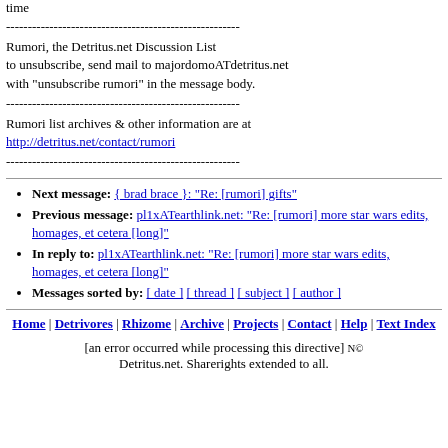time
------------------------------------------------------
Rumori, the Detritus.net Discussion List
to unsubscribe, send mail to majordomoATdetritus.net
with "unsubscribe rumori" in the message body.
------------------------------------------------------
Rumori list archives & other information are at
http://detritus.net/contact/rumori
------------------------------------------------------
Next message: { brad brace }: "Re: [rumori] gifts"
Previous message: pl1xATearthlink.net: "Re: [rumori] more star wars edits, homages, et cetera [long]"
In reply to: pl1xATearthlink.net: "Re: [rumori] more star wars edits, homages, et cetera [long]"
Messages sorted by: [ date ] [ thread ] [ subject ] [ author ]
Home | Detrivores | Rhizome | Archive | Projects | Contact | Help | Text Index
[an error occurred while processing this directive] N© Detritus.net. Sharerights extended to all.